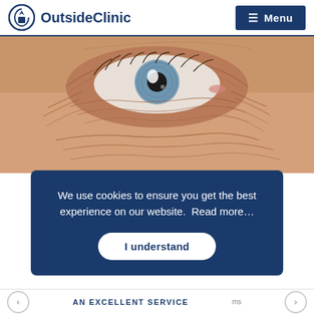OutsideClinic — Menu
[Figure (photo): Close-up macro photograph of an elderly person's eye with blue iris, surrounded by heavily wrinkled skin.]
We use cookies to ensure you get the best experience on our website.  Read more…
I understand
AN EXCELLENT SERVICE